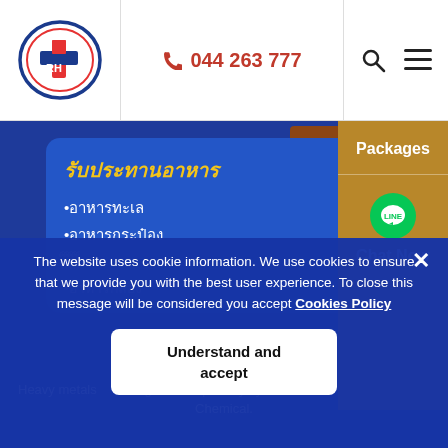[Figure (logo): RH hospital logo with red cross and blue oval border]
044 263 777
[Figure (screenshot): Website header navigation with logo, phone number, search icon, and hamburger menu]
[Figure (photo): Canned food and kidney beans on a plate, food safety context]
รับประทานอาหาร
•อาหารทะเล
•อาหารกระป๋อง
Packages
[Figure (logo): LINE chat bubble icon]
Chat Now
The website uses cookie information. We use cookies to ensure that we provide you with the best user experience. To close this message will be considered you accept Cookies Policy
Understand and accept
Heavy metals through the respiratory sy... Chemical.